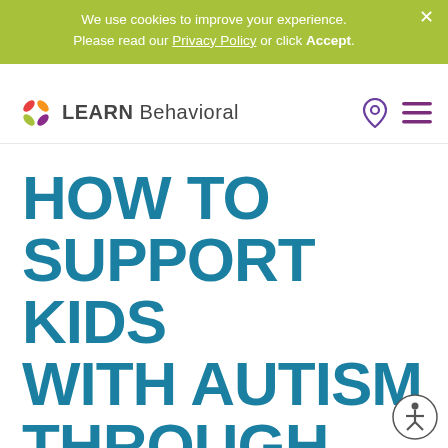We use cookies to improve your experience. Please read our Privacy Policy or click Accept.
[Figure (logo): LEARN Behavioral logo with colorful flower icon]
HOW TO SUPPORT KIDS WITH AUTISM THROUGH GRIEF AND LOSS